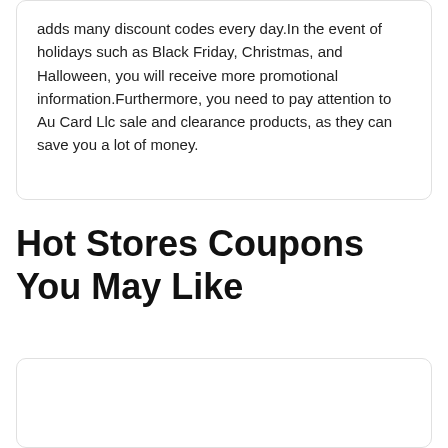adds many discount codes every day.In the event of holidays such as Black Friday, Christmas, and Halloween, you will receive more promotional information.Furthermore, you need to pay attention to Au Card Llc sale and clearance products, as they can save you a lot of money.
Hot Stores Coupons You May Like